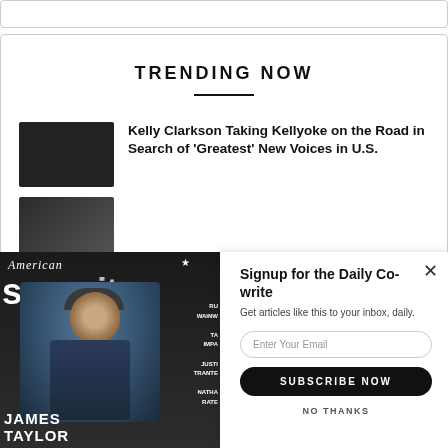TRENDING NOW
Kelly Clarkson Taking Kellyoke on the Road in Search of 'Greatest' New Voices in U.S.
[Figure (photo): Magazine cover: American Songwriter featuring James Taylor]
Signup for the Daily Co-write
Get articles like this to your inbox, daily.
Enter Your Email
SUBSCRIBE NOW
NO THANKS